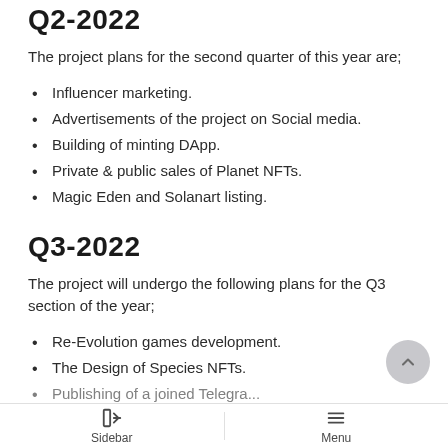Q2-2022
The project plans for the second quarter of this year are;
Influencer marketing.
Advertisements of the project on Social media.
Building of minting DApp.
Private & public sales of Planet NFTs.
Magic Eden and Solanart listing.
Q3-2022
The project will undergo the following plans for the Q3 section of the year;
Re-Evolution games development.
The Design of Species NFTs.
Publishing of a joined Telegram...
Sidebar  Menu